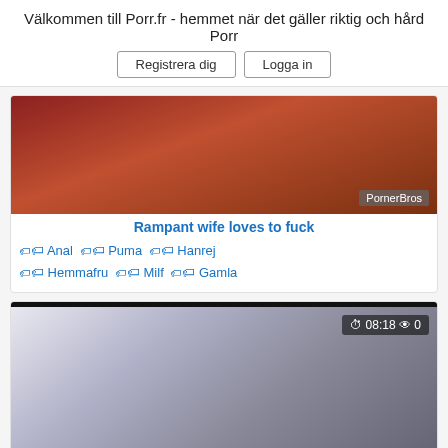Välkommen till Porr.fr - hemmet när det gäller riktig och hård Porr
Registrera dig | Logga in
[Figure (screenshot): Thumbnail image of video 'Rampant wife loves to fuck' with PornerBros watermark]
Rampant wife loves to fuck
Anal  Puma  Hanrej  Hemmafru  Milf  Gamla
[Figure (screenshot): Thumbnail image of video 'Brunette wife loves hard cock' with duration 08:18 and 0 views, PornerBros watermark]
Brunette wife loves hard cock
Avsugning  Par  Hanrej  Hemmafru  Milf  Gamla
[Figure (screenshot): Partial thumbnail of a third video with duration 12:01 and 0 views]